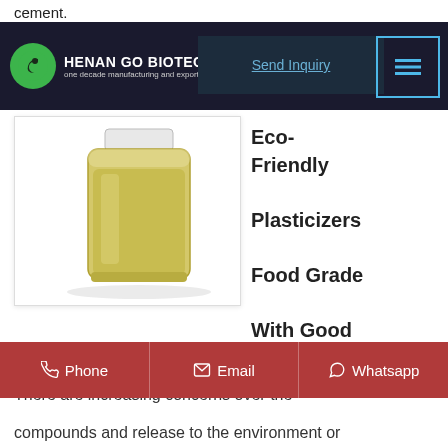cement.
[Figure (logo): Henan Go Biotech company logo — green circle with white swoosh, text reads HENAN GO BIOTECH, one decade manufacturing and exporting experience]
Send Inquiry
[Figure (photo): Glass jar containing yellow-green liquid chemical (plasticizer)]
Eco-Friendly Plasticizers Food Grade With Good Price
There are increasing concerns over the
Phone
Email
Whatsapp
compounds and release to the environment or